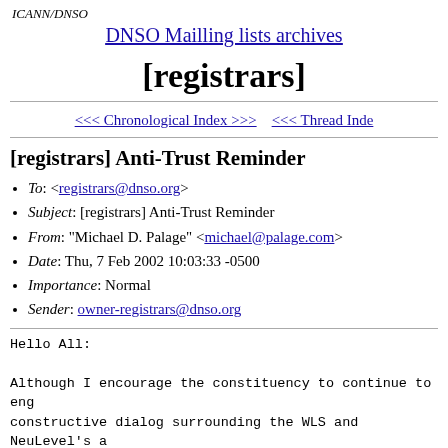ICANN/DNSO
DNSO Mailling lists archives
[registrars]
<<< Chronological Index >>>    <<< Thread Index
[registrars] Anti-Trust Reminder
To: <registrars@dnso.org>
Subject: [registrars] Anti-Trust Reminder
From: "Michael D. Palage" <michael@palage.com>
Date: Thu, 7 Feb 2002 10:03:33 -0500
Importance: Normal
Sender: owner-registrars@dnso.org
Hello All:

Although I encourage the constituency to continue to eng constructive dialog surrounding the WLS and NeuLevel's a 2.B names, I would like to offer the following gentle re constituency SHOULD NOT be discussing for legal reasons.